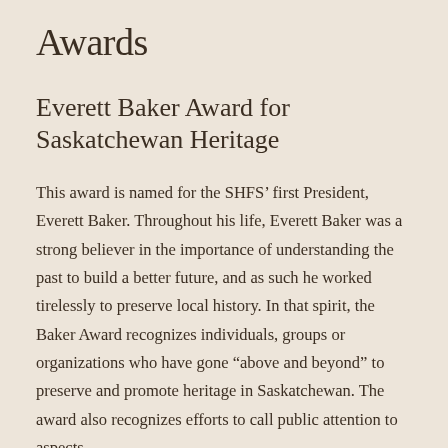Awards
Everett Baker Award for Saskatchewan Heritage
This award is named for the SHFS’ first President, Everett Baker. Throughout his life, Everett Baker was a strong believer in the importance of understanding the past to build a better future, and as such he worked tirelessly to preserve local history. In that spirit, the Baker Award recognizes individuals, groups or organizations who have gone “above and beyond” to preserve and promote heritage in Saskatchewan. The award also recognizes efforts to call public attention to aspects